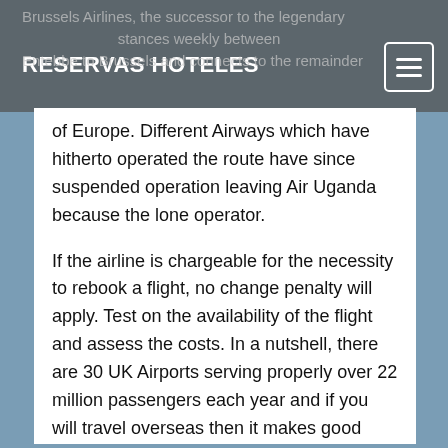RESERVAS HOTELES
Brussels Airlines, the successor to the legendary ... stances weekly between Entebbe to Brussels and connects to the remainder of Europe. Different Airways which have hitherto operated the route have since suspended operation leaving Air Uganda because the lone operator.
If the airline is chargeable for the necessity to rebook a flight, no change penalty will apply. Test on the availability of the flight and assess the costs. In a nutshell, there are 30 UK Airports serving properly over 22 million passengers each year and if you will travel overseas then it makes good sense to use airports nearest to you wherever doable. international flights from lax cancelled, international flights from india to us, cheapest international flights from denver 2019